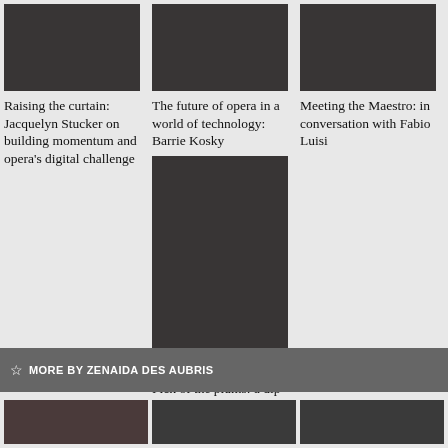[Figure (photo): Dark thumbnail image for article about Jacquelyn Stucker]
Raising the curtain: Jacquelyn Stucker on building momentum and opera's digital challenge
[Figure (photo): Dark thumbnail image for article about Barrie Kosky]
The future of opera in a world of technology: Barrie Kosky
[Figure (photo): Dark thumbnail image for article about Fabio Luisi]
Meeting the Maestro: in conversation with Fabio Luisi
[Figure (photo): Dark tall thumbnail image for Pick of the plums article]
Pick of the plums: a dip into the highlights of 2019
MORE BY ZENAIDA DES AUBRIS
[Figure (photo): Small dark thumbnail at bottom left]
[Figure (photo): Small dark thumbnail at bottom center]
[Figure (photo): Small dark thumbnail at bottom right]